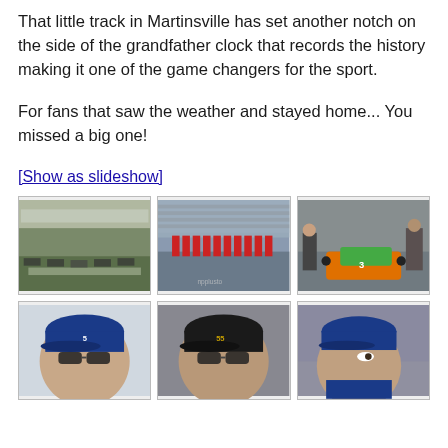That little track in Martinsville has set another notch on the side of the grandfather clock that records the history making it one of the game changers for the sport.
For fans that saw the weather and stayed home... You missed a big one!
[Show as slideshow]
[Figure (photo): Aerial view of Martinsville Speedway track with cars racing]
[Figure (photo): Marching band or pit crew in red uniforms lined up on track with grandstands full of fans]
[Figure (photo): NASCAR crew members working on a green and orange race car in the pit]
[Figure (photo): Driver in blue NASCAR uniform and cap with sunglasses]
[Figure (photo): Driver in dark NASCAR uniform and cap with sunglasses]
[Figure (photo): Driver in blue NASCAR uniform looking to the side with crowded grandstands in background]